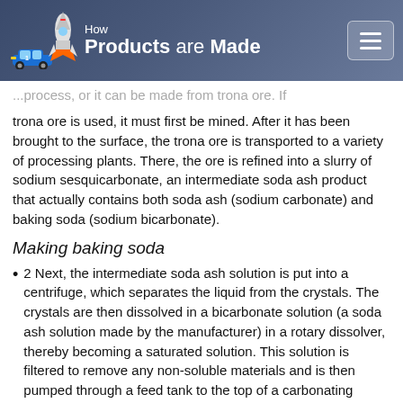How Products are Made
...process, or it can be made from trona ore. If trona ore is used, it must first be mined. After it has been brought to the surface, the trona ore is transported to a variety of processing plants. There, the ore is refined into a slurry of sodium sesquicarbonate, an intermediate soda ash product that actually contains both soda ash (sodium carbonate) and baking soda (sodium bicarbonate).
Making baking soda
2 Next, the intermediate soda ash solution is put into a centrifuge, which separates the liquid from the crystals. The crystals are then dissolved in a bicarbonate solution (a soda ash solution made by the manufacturer) in a rotary dissolver, thereby becoming a saturated solution. This solution is filtered to remove any non-soluble materials and is then pumped through a feed tank to the top of a carbonating tower.